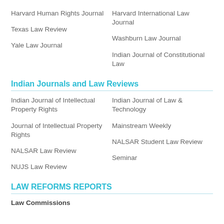Harvard Human Rights Journal
Harvard International Law Journal
Texas Law Review
Washburn Law Journal
Yale Law Journal
Indian Journal of Constitutional Law
Indian Journals and Law Reviews
Indian Journal of Intellectual Property Rights
Indian Journal of Law & Technology
Journal of Intellectual Property Rights
Mainstream Weekly
NALSAR Law Review
NALSAR Student Law Review
NUJS Law Review
Seminar
LAW REFORMS REPORTS
Law Commissions